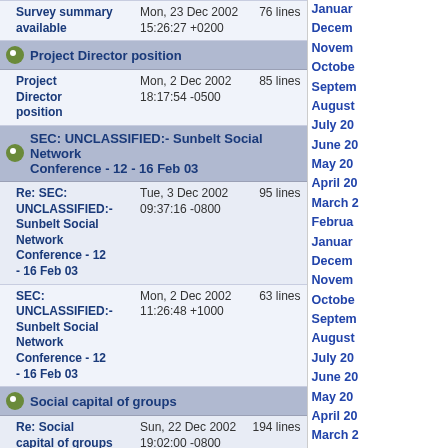Survey summary available | Mon, 23 Dec 2002 15:26:27 +0200 | 76 lines
Project Director position
Project Director position | Mon, 2 Dec 2002 18:17:54 -0500 | 85 lines
SEC: UNCLASSIFIED:- Sunbelt Social Network Conference - 12 - 16 Feb 03
Re: SEC: UNCLASSIFIED:- Sunbelt Social Network Conference - 12 - 16 Feb 03 | Tue, 3 Dec 2002 09:37:16 -0800 | 95 lines
SEC: UNCLASSIFIED:- Sunbelt Social Network Conference - 12 - 16 Feb 03 | Mon, 2 Dec 2002 11:26:48 +1000 | 63 lines
Social capital of groups
Re: Social capital of groups | Sun, 22 Dec 2002 19:02:00 -0800 | 194 lines
Social capital of groups | Sun, 22 Dec 2002 19:37:54 EST | 103 lines
Social Network Measures and Structural Stability
January
December
November
October
September
August
July 20
June 20
May 20
April 20
March 2
February
January
December
November
October
September
August
July 20
June 20
May 20
April 20
March 2
February
January
December
November
October
September
August
July 20
June 20